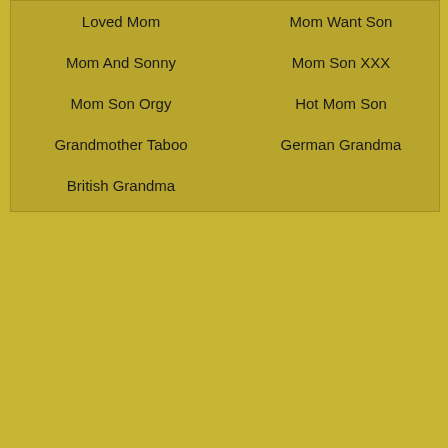Loved Mom
Mom Want Son
Mom And Sonny
Mom Son XXX
Mom Son Orgy
Hot Mom Son
Grandmother Taboo
German Grandma
British Grandma